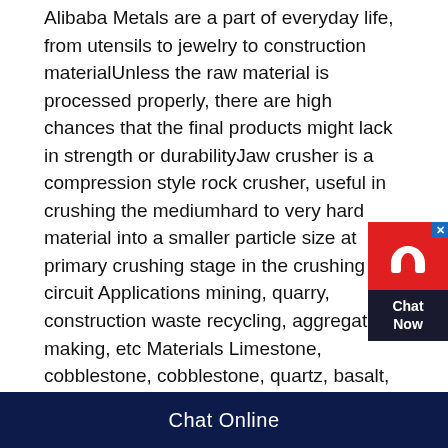Alibaba Metals are a part of everyday life, from utensils to jewelry to construction materialUnless the raw material is processed properly, there are high chances that the final products might lack in strength or durabilityJaw crusher is a compression style rock crusher, useful in crushing the mediumhard to very hard material into a smaller particle size at primary crushing stage in the crushing circuit Applications mining, quarry, construction waste recycling, aggregate making, etc Materials Limestone, cobblestone, cobblestone, quartz, basalt, iron ore, granite, shale, sandstone, gypsum, and a variety of oresJaw Crusher Eastman Rock CrusherChina Vipeak PE750X1060 Jaw Crusher Parts, Jaw Plates, Side Plates, Find details about China Crusher Parts, Jaw Liner from Vipeak
[Figure (other): Chat support widget with red background, headphone icon, close button, and dark 'Chat Now' label box]
Chat Online